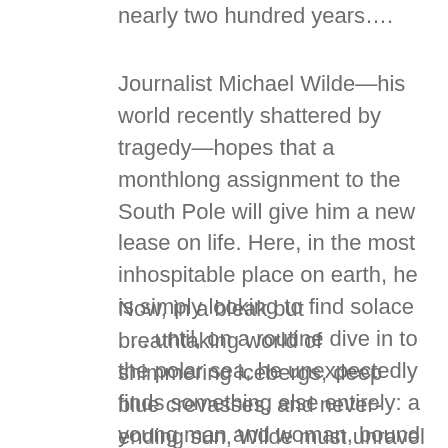nearly two hundred years….
Journalist Michael Wilde—his world recently shattered by tragedy—hopes that a monthlong assignment to the South Pole will give him a new lease on life. Here, in the most inhospitable place on earth, he is simply looking to find solace . . . until, on a routine dive in to the polar sea, he unexpectedly finds something else entirely: a young man and woman, bound with chains and sealed forever in a block of ice. Beside them a chest filled with a strange, and sinister, cargo.
Now, in a bleak but breathtaking world of shimmering icebergs, deep blue crevasses, and never-ending sun, Wilde must unravel the mystery of this doomed couple. Were they the innocent victims of fear and superstition—or were they something far darker? His search will lead from the barracks and battlefields of the Crimean War to the unexplored depths of the Antarctic Ocean, from the ill-fated charge of the Light